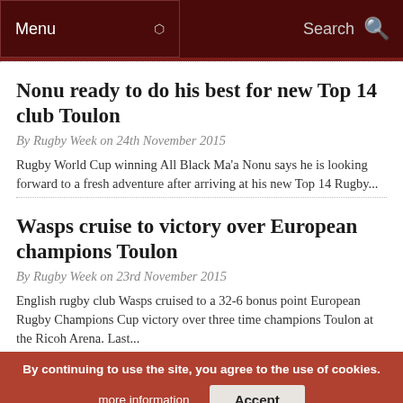Menu | Search
Nonu ready to do his best for new Top 14 club Toulon
By Rugby Week on 24th November 2015
Rugby World Cup winning All Black Ma'a Nonu says he is looking forward to a fresh adventure after arriving at his new Top 14 Rugby...
Wasps cruise to victory over European champions Toulon
By Rugby Week on 23rd November 2015
English rugby club Wasps cruised to a 32-6 bonus point European Rugby Champions Cup victory over three time champions Toulon at the Ricoh Arena. Last...
By continuing to use the site, you agree to the use of cookies. more information | Accept
Toulon eager to get European Rugby campaign